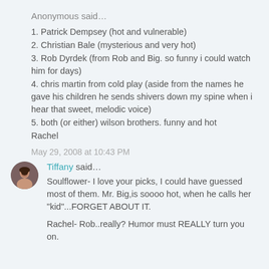Anonymous said…
1. Patrick Dempsey (hot and vulnerable)
2. Christian Bale (mysterious and very hot)
3. Rob Dyrdek (from Rob and Big. so funny i could watch him for days)
4. chris martin from cold play (aside from the names he gave his children he sends shivers down my spine when i hear that sweet, melodic voice)
5. both (or either) wilson brothers. funny and hot
Rachel
May 29, 2008 at 10:43 PM
Tiffany said…
Soulflower- I love your picks, I could have guessed most of them. Mr. Big,is soooo hot, when he calls her "kid"...FORGET ABOUT IT.
Rachel- Rob..really? Humor must REALLY turn you on.